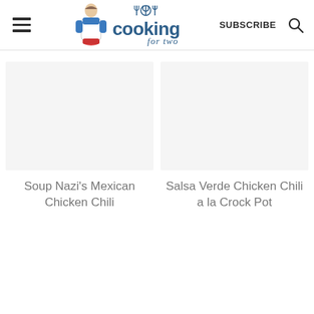cooking for two
[Figure (screenshot): Blank white image placeholder for Soup Nazi's Mexican Chicken Chili recipe card]
Soup Nazi's Mexican Chicken Chili
[Figure (screenshot): Blank white image placeholder for Salsa Verde Chicken Chili a la Crock Pot recipe card]
Salsa Verde Chicken Chili a la Crock Pot